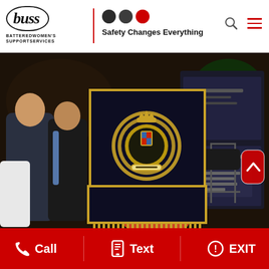[Figure (logo): BUSS (Battered Women's Support Services) logo with oval wordmark, organization name, red vertical divider, three circles (two dark, one red), and tagline 'Safety Changes Everything']
[Figure (photo): Indoor event photo showing a woman with long red/brown braids standing behind a dark banner displaying a gold royal crest/emblem. Several other people visible in background. Appears to be a community event or press conference.]
[Figure (infographic): Red footer navigation bar with three white icon+text buttons: phone icon with 'Call', mobile phone icon with 'Text', and alert/info icon with 'EXIT']